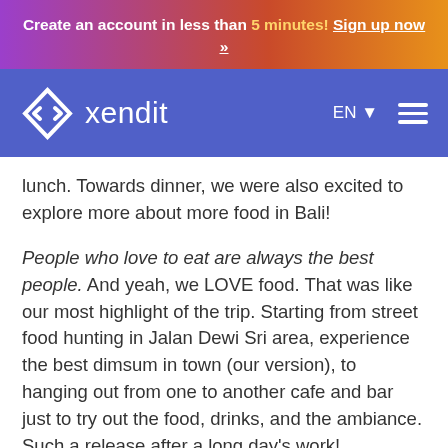Create an account in less than 5 minutes! Sign up now »
[Figure (logo): Xendit logo with diamond/arrow icon and nav bar showing EN language selector and hamburger menu]
lunch. Towards dinner, we were also excited to explore more about more food in Bali!
People who love to eat are always the best people. And yeah, we LOVE food. That was like our most highlight of the trip. Starting from street food hunting in Jalan Dewi Sri area, experience the best dimsum in town (our version), to hanging out from one to another cafe and bar just to try out the food, drinks, and the ambiance. Such a release after a long day's work!